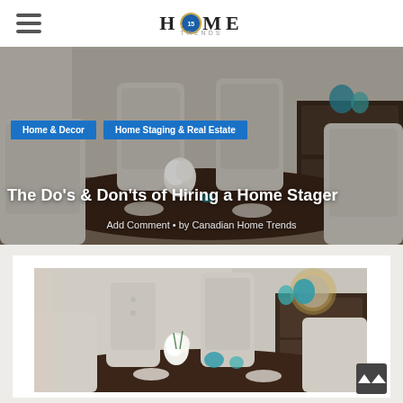HOME Trends — Canadian Home Trends
[Figure (photo): Hero banner photo of a staged dining room with upholstered chairs, dark wood table, white floral centerpiece, and teal decorative accents. Blue category tags and article title overlaid.]
Home & Decor   Home Staging & Real Estate
The Do's & Don'ts of Hiring a Home Stager
Add Comment • by Canadian Home Trends
[Figure (photo): Close-up photo of a staged dining room table with white flowers in vases, teal glass decorations, white plates, and upholstered tufted chairs. A round mirror and dark wood sideboard visible in background.]